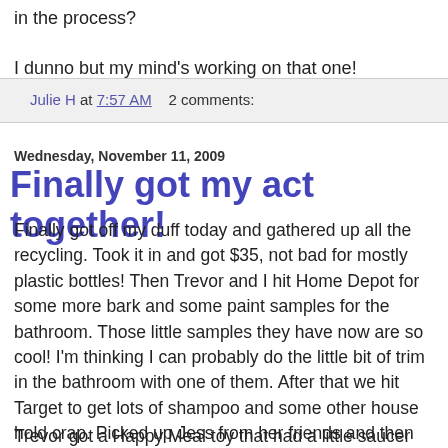in the process?
I dunno but my mind's working on that one!
Julie H at 7:57 AM    2 comments:
Wednesday, November 11, 2009
Finally got my act together!
Finally got off my duff today and gathered up all the recycling. Took it in and got $35, not bad for mostly plastic bottles! Then Trevor and I hit Home Depot for some more bark and some paint samples for the bathroom. Those little samples they have now are so cool! I'm thinking I can probably do the little bit of trim in the bathroom with one of them. After that we hit Target to get lots of shampoo and some other house hold crap. Picked up Jess from her friends and then she wanted to go to Wal Mart for some shoes and we ended up having some McD's there.
Trevor got a Happy Meal toy that had a little saucer thing that